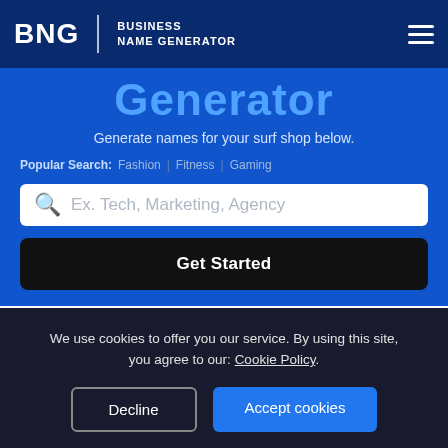BNG | BUSINESS NAME GENERATOR
Generator
Generate names for your surf shop below.
Popular Search: Fashion | Fitness | Gaming
Ex. Tech, Marketing, Agency
Get Started
We use cookies to offer you our service. By using this site, you agree to our: Cookie Policy.
Decline
Accept cookies